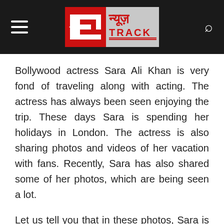[Figure (logo): News Track logo with Hindi text न्यूज़ TRACK on dark background header bar with hamburger menu on left and search icon on right]
Bollywood actress Sara Ali Khan is very fond of traveling along with acting. The actress has always been seen enjoying the trip. These days Sara is spending her holidays in London. The actress is also sharing photos and videos of her vacation with fans. Recently, Sara has also shared some of her photos, which are being seen a lot.
Let us tell you that in these photos, Sara is seen in different clothes. Sara Ali Khan is seen having fun on the streets of London. In one of the photos, the actress is seen enjoying the food. Sharing the